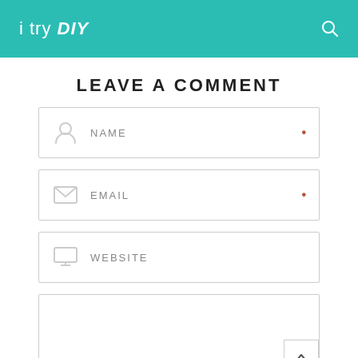i try DIY
LEAVE A COMMENT
NAME
EMAIL
WEBSITE